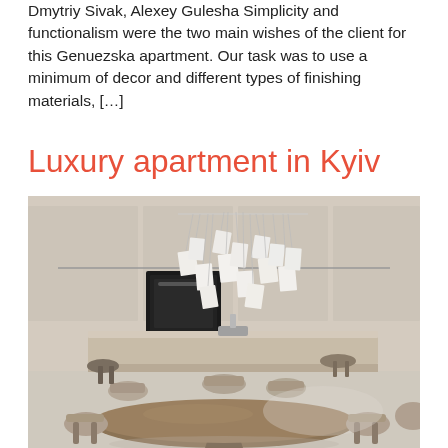Dmytriy Sivak, Alexey Gulesha Simplicity and functionalism were the two main wishes of the client for this Genuezska apartment. Our task was to use a minimum of decor and different types of finishing materials, […]
Luxury apartment in Kyiv
[Figure (photo): Interior design photo of a luxury apartment in Kyiv showing a modern kitchen/dining area with a large round brown dining table, taupe dining chairs, a sculptural chandelier made of hanging white rectangular panels, a kitchen island with integrated appliances, and beige cabinetry in the background.]